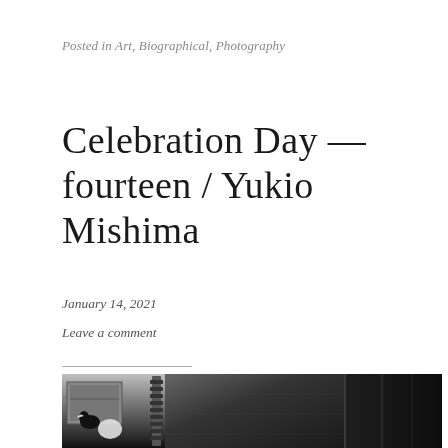Posted in Art, Biographical, Photography
Celebration Day — fourteen / Yukio Mishima
January 14, 2021
Leave a comment
[Figure (photo): Black and white photograph showing a dark, high-contrast scene with what appears to be a figure or bird in the lower left, a spiral/spine-like structure in the center, and dark architectural or book-like shapes on the right side.]